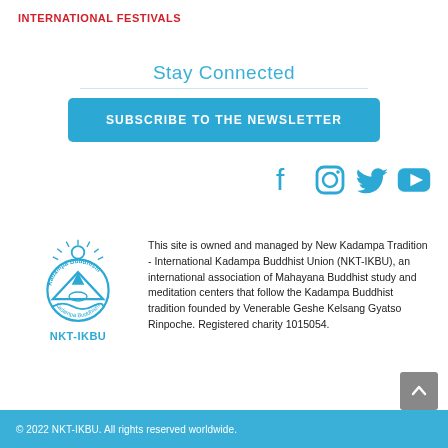INTERNATIONAL FESTIVALS
Stay Connected
SUBSCRIBE TO THE NEWSLETTER
[Figure (logo): Social media icons: Facebook, Instagram, Twitter, YouTube in blue]
[Figure (logo): NKT-IKBU Kadampa Buddhism circular logo in blue]
This site is owned and managed by New Kadampa Tradition - International Kadampa Buddhist Union (NKT-IKBU), an international association of Mahayana Buddhist study and meditation centers that follow the Kadampa Buddhist tradition founded by Venerable Geshe Kelsang Gyatso Rinpoche. Registered charity 1015054.
© 2022 NKT-IKBU. All rights reserved worldwide.